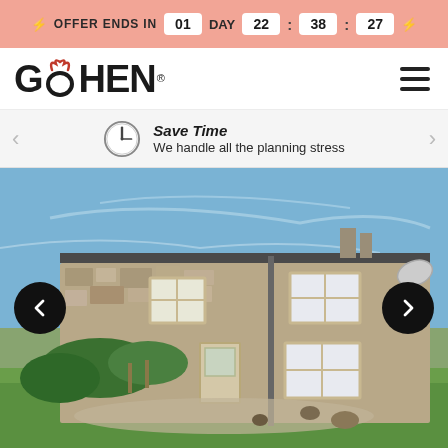OFFER ENDS IN 01 DAY 22 : 38 : 27
[Figure (logo): Go Hen logo with red devil horns above the O]
[Figure (infographic): Save Time - We handle all the planning stress feature strip with clock icon]
[Figure (photo): Stone cottage building with white sash windows, gravel driveway, green lawn, and blue sky. Navigation arrows on left and right sides.]